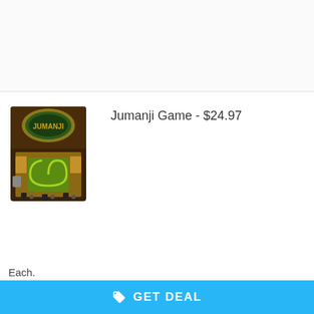[Figure (photo): Empty product listing area at top, light gray background]
[Figure (photo): Jumanji board game product photo showing open game box with board, pieces, and dice]
Jumanji Game - $24.97
Each.
[Figure (photo): Lego Isabela Or Antonio's Magic Door product box photo, pink floral design]
Lego Isabela Or Antonio's Magic Door - $24.86
GET DEAL